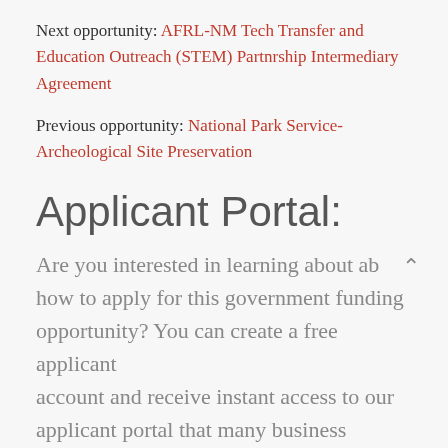Next opportunity: AFRL-NM Tech Transfer and Education Outreach (STEM) Partnrship Intermediary Agreement
Previous opportunity: National Park Service-Archeological Site Preservation
Applicant Portal:
Are you interested in learning about ab how to apply for this government funding opportunity? You can create a free applicant account and receive instant access to our applicant portal that many business owners